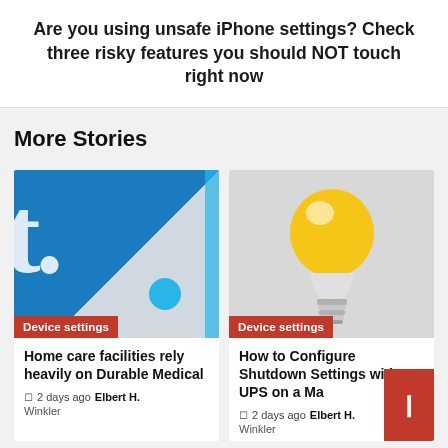Are you using unsafe iPhone settings? Check three risky features you should NOT touch right now
More Stories
[Figure (illustration): Blue and grey blurred graphic showing white letter shapes and a small cyan dot, representing a tech/settings article thumbnail with 'Device settings' badge]
Device settings
Home care facilities rely heavily on Durable Medical
2 days ago  Elbert H.
[Figure (illustration): Light bulb with glowing yellow globe on grey background, representing a device settings article thumbnail with 'Device settings' badge]
Device settings
How to Configure Shutdown Settings with a UPS on a Ma
2 days ago  Elbert H.